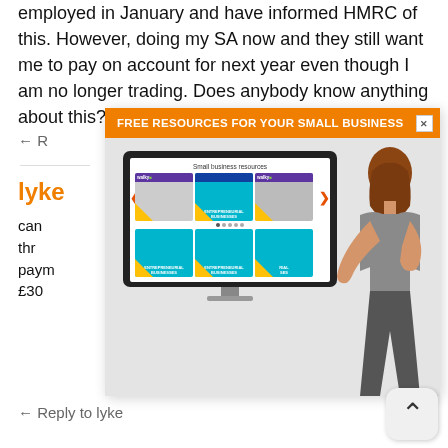employed in January and have informed HMRC of this. However, doing my SA now and they still want me to pay on account for next year even though I am no longer trading. Does anybody know anything about this? Thanks
← Reply
[Figure (infographic): Advertisement overlay: orange banner reading FREE RESOURCES FOR YOUR SMALL BUSINESS with close button, below which is a monitor displaying a Small business resources slideshow with colourful business guide cards, and a woman pointing at the screen]
lyke
can thr paym £300
← Reply to lyke
[Figure (other): Scroll to top chevron button]